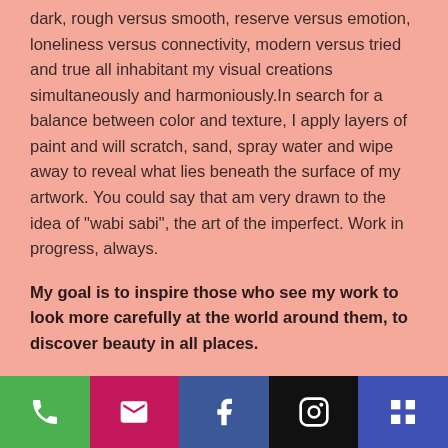dark, rough versus smooth, reserve versus emotion, loneliness versus connectivity, modern versus tried and true all inhabitant my visual creations simultaneously and harmoniously.In search for a balance between color and texture, I apply layers of paint and will scratch, sand, spray water and wipe away to reveal what lies beneath the surface of my artwork. You could say that am very drawn to the idea of "wabi sabi", the art of the imperfect. Work in progress, always.
My goal is to inspire those who see my work to look more carefully at the world around them, to discover beauty in all places.
Charitable contributions
[Figure (other): Footer navigation bar with five colored buttons: green phone icon, pink email icon, blue Facebook icon, black Instagram icon, indigo grid/menu icon]